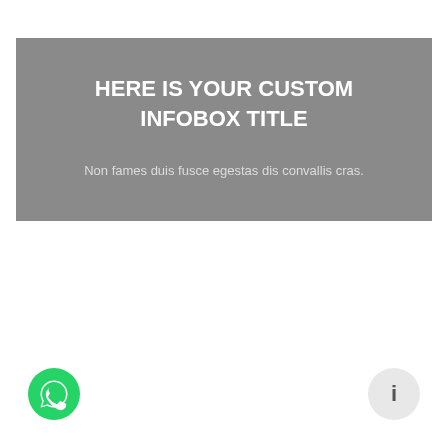HERE IS YOUR CUSTOM INFOBOX TITLE
Non fames duis fusce egestas dis convallis cras.
[Figure (illustration): Green circular WhatsApp button with white phone/chat icon at bottom left]
[Figure (illustration): Light gray circular info button with dark 'i' icon at bottom right]